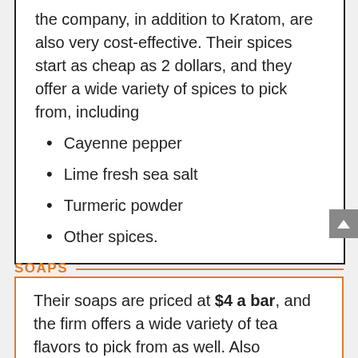the company, in addition to Kratom, are also very cost-effective. Their spices start as cheap as 2 dollars, and they offer a wide variety of spices to pick from, including
Cayenne pepper
Lime fresh sea salt
Turmeric powder
Other spices.
SOAPS
Their soaps are priced at $4 a bar, and the firm offers a wide variety of tea flavors to pick from as well. Also